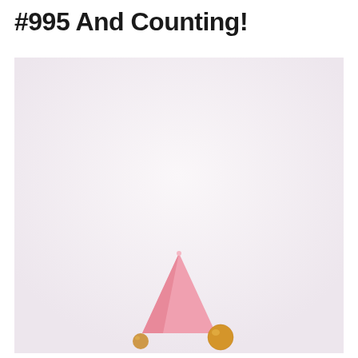#995 And Counting!
[Figure (photo): A photo with a light lavender/pink background showing a pink party hat cone and a small golden round object (possibly a balloon or ornament) at the bottom center of the image. The top portion is mostly empty pale pink/white space.]